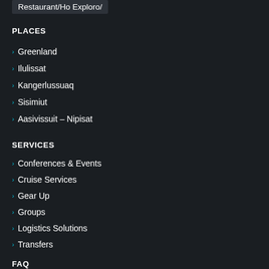Restaurant/Ho Exploro/
PLACES
Greenland
Ilulissat
Kangerlussuaq
Sisimiut
Aasivissuit – Nipisat
SERVICES
Conferences & Events
Cruise Services
Gear Up
Groups
Logistics Solutions
Transfers
FAQ
FAQ